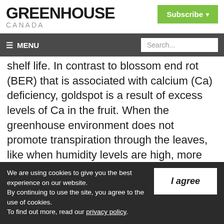GREENHOUSE CANADA
shelf life. In contrast to blossom end rot (BER) that is associated with calcium (Ca) deficiency, goldspot is a result of excess levels of Ca in the fruit. When the greenhouse environment does not promote transpiration through the leaves, like when humidity levels are high, more Ca is transported to the fruit
We are using cookies to give you the best experience on our website.
By continuing to use the site, you agree to the use of cookies.
To find out more, read our privacy policy.